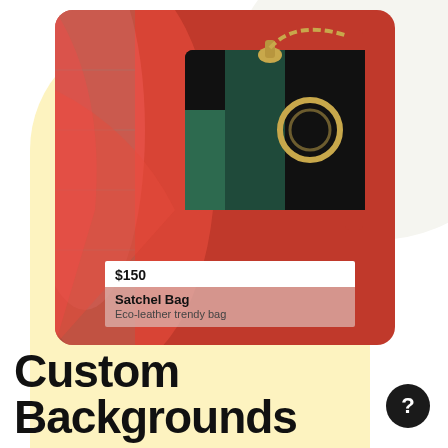[Figure (photo): Fashion product photo showing a woman in red flowing fabric holding a dark Satchel Bag with gold hardware and green/red stripe accents. A price tag overlay shows '$150' above a pinkish label reading 'Satchel Bag' and 'Eco-leather trendy bag'. The image sits inside a rounded card on a pale yellow blob background.]
Custom Backgrounds